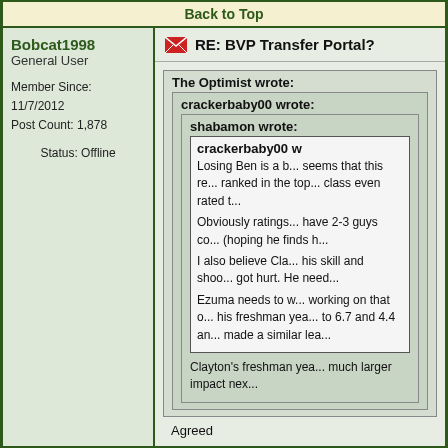Back to Top
Bobcat1998
General User

Member Since: 11/7/2012
Post Count: 1,878

Status: Offline
RE: BVP Transfer Portal?
The Optimist wrote:

crackerbaby00 wrote:

shabamon wrote:

crackerbaby00 w...

Losing Ben is a b... seems that this re... ranked in the top... class even rated t...

Obviously ratings... have 2-3 guys co... (hoping he finds h...

I also believe Cla... his skill and shoo... got hurt. He need...

Ezuma needs to w... working on that o... his freshman yea... to 6.7 and 4.4 an... made a similar lea...

Clayton's freshman yea... much larger impact nex...

Agreed